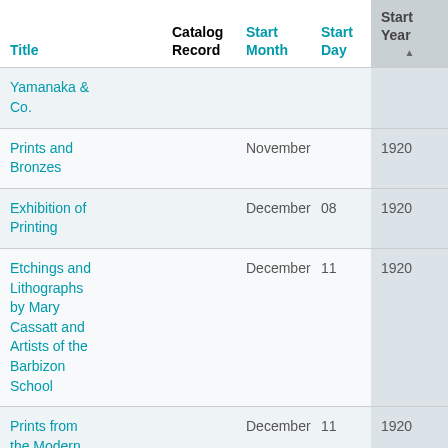| Title | Catalog Record | Start Month | Start Day | Start Year | End Month | E... |
| --- | --- | --- | --- | --- | --- | --- |
| Yamanaka & Co. |  |  |  |  |  |  |
| Prints and Bronzes |  | November |  | 1920 | November |  |
| Exhibition of Printing |  | December | 08 | 1920 | December | 2... |
| Etchings and Lithographs by Mary Cassatt and Artists of the Barbizon School |  | December | 11 | 1920 | January | 1... |
| Prints from the Modern French |  | December | 11 | 1920 | January | ... |